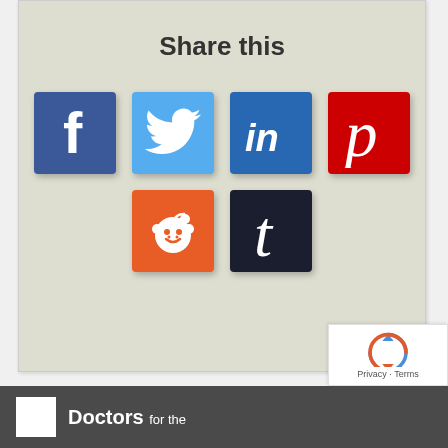Share this
[Figure (infographic): Social media share buttons: Facebook, Twitter, LinkedIn, Pinterest, Reddit, Tumblr]
[Figure (logo): reCAPTCHA badge with Privacy and Terms links]
Doctors for the